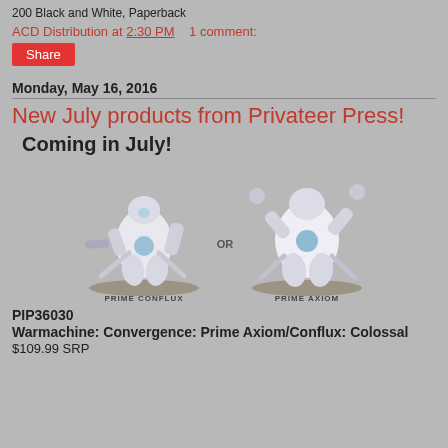200 Black and White, Paperback
ACD Distribution at 2:30 PM    1 comment:
Share
Monday, May 16, 2016
New July products from Privateer Press!
Coming in July!
[Figure (photo): Two Warmachine miniatures: Prime Conflux (left) and Prime Axiom (right), large white and blue robotic figures on round bases, with text labels 'PRIME CONFLUX OR PRIME AXIOM' beneath them.]
PIP36030
Warmachine: Convergence: Prime Axiom/Conflux: Colossal
$109.99 SRP